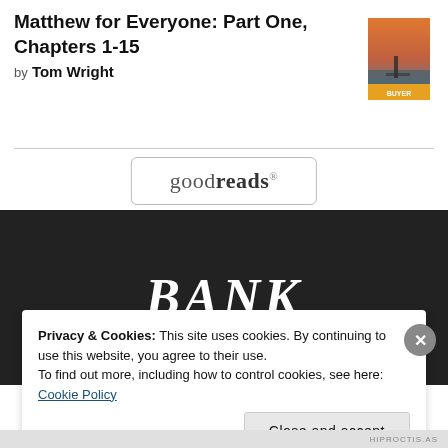Matthew for Everyone: Part One, Chapters 1-15
by Tom Wright
[Figure (illustration): Book cover thumbnail for Matthew for Everyone: Part One, Chapters 1-15 with a sunset/dock image and 'BUYER' label at bottom]
[Figure (logo): Goodreads logo inside a rounded rectangle button]
BANK
Privacy & Cookies: This site uses cookies. By continuing to use this website, you agree to their use.
To find out more, including how to control cookies, see here: Cookie Policy
Close and accept